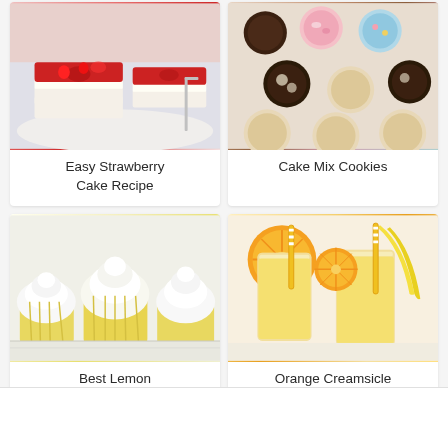[Figure (photo): Photo of strawberry cake slices on a plate with bright red strawberry glaze topping]
Easy Strawberry Cake Recipe
[Figure (photo): Photo of assorted decorated cake mix cookies with colorful frosting including chocolate, pink, and blue]
Cake Mix Cookies
[Figure (photo): Photo of yellow lemon cupcakes with tall white whipped cream frosting on a white plate]
Best Lemon Cupcakes Recipe
[Figure (photo): Photo of two tall glasses of orange creamsicle smoothie with orange slices and bananas in the background]
Orange Creamsicle Smoothie